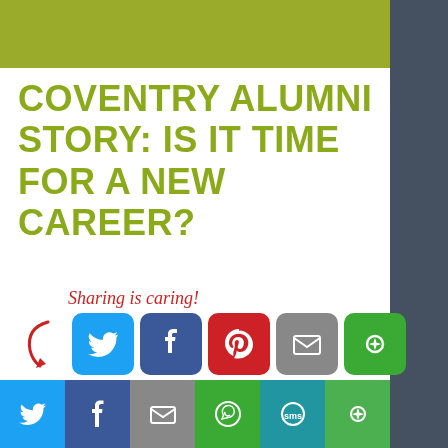COVENTRY ALUMNI STORY: IS IT TIME FOR A NEW CAREER?
[Figure (infographic): Sharing is caring! social media share buttons: Twitter (blue), Facebook (dark blue), Pinterest (red), Email (grey), share/more (green), with red arrow and handwritten-style text]
My name is Clare Farley. November 2016 was a moment for reflection for me. The occasion was my graduation from Coventry University with a Professional
Social share bar: Twitter, Facebook, Email, WhatsApp, SMS, More